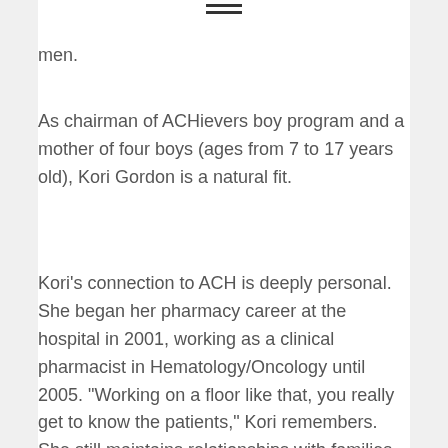men.
As chairman of ACHievers boy program and a mother of four boys (ages from 7 to 17 years old), Kori Gordon is a natural fit.
Kori's connection to ACH is deeply personal. She began her pharmacy career at the hospital in 2001, working as a clinical pharmacist in Hematology/Oncology until 2005. "Working on a floor like that, you really get to know the patients," Kori remembers. She still maintains relationships with families of children she helped during her tenure. And in March of 2011, when Kori's third son was hospitalized for three weeks due to complications from flu and pneumonia, her family experienced the worldrenowned care that ACH